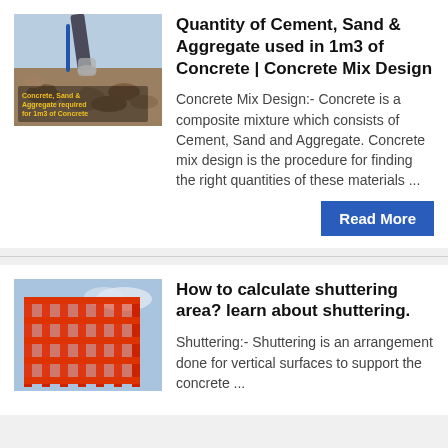[Figure (photo): Photo of concrete being poured from a chute onto a pile of aggregate, with text overlay reading 'Concrete, Sand & Aggregate required for 1m3 of Concrete']
Quantity of Cement, Sand & Aggregate used in 1m3 of Concrete | Concrete Mix Design
Concrete Mix Design:- Concrete is a composite mixture which consists of Cement, Sand and Aggregate. Concrete mix design is the procedure for finding the right quantities of these materials ...
[Figure (photo): Photo of red metal shuttering/formwork framework for a building under construction]
How to calculate shuttering area? learn about shuttering.
Shuttering:- Shuttering is an arrangement done for vertical surfaces to support the concrete ...